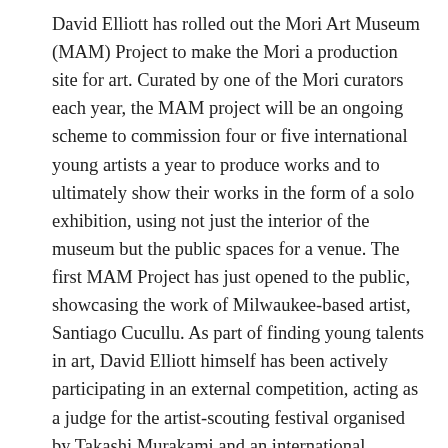David Elliott has rolled out the Mori Art Museum (MAM) Project to make the Mori a production site for art. Curated by one of the Mori curators each year, the MAM project will be an ongoing scheme to commission four or five international young artists a year to produce works and to ultimately show their works in the form of a solo exhibition, using not just the interior of the museum but the public spaces for a venue. The first MAM Project has just opened to the public, showcasing the work of Milwaukee-based artist, Santiago Cucullu. As part of finding young talents in art, David Elliott himself has been actively participating in an external competition, acting as a judge for the artist-scouting festival organised by Takashi Murakami and an international competition on the 'Art of Martini glass design'.
As a Japanophile from the time he was an art student at Oxford, David Elliott has a strong interest not only in Japanese art of Edo period but also in classical Chinese, Indian and East Asian